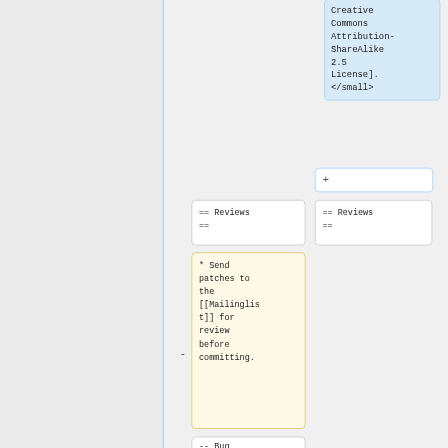Creative Commons Attribution-ShareAlike 2.5 License].
</small>
+
== Reviews ==
== Reviews ==
* Send patches to the [[Mailinglist]] for review before committing.
-- Bug